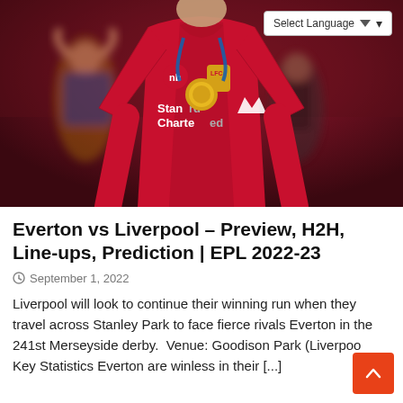[Figure (photo): A Liverpool footballer wearing a red jersey with 'Standard Chartered' sponsor and a gold medal with blue ribbon, photographed at a stadium. Background shows blurred figures.]
Everton vs Liverpool – Preview, H2H, Line-ups, Prediction | EPL 2022-23
September 1, 2022
Liverpool will look to continue their winning run when they travel across Stanley Park to face fierce rivals Everton in the 241st Merseyside derby.  Venue: Goodison Park (Liverpool Key Statistics Everton are winless in their [...]